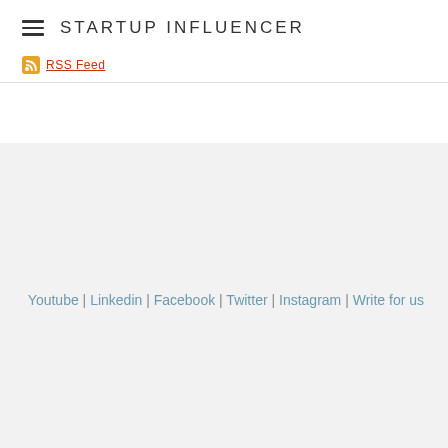STARTUP INFLUENCER
RSS Feed
Youtube | Linkedin | Facebook | Twitter | Instagram | Write for us